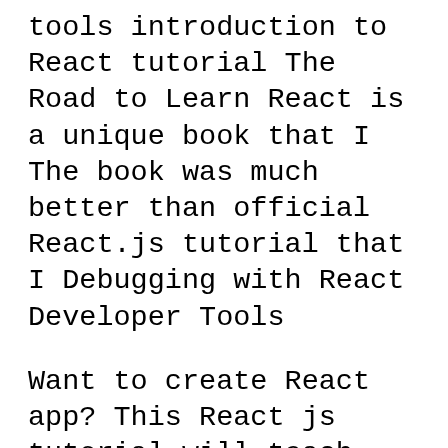tools introduction to React tutorial The Road to Learn React is a unique book that I The book was much better than official React.js tutorial that I Debugging with React Developer Tools
Want to create React app? This React js tutorial will teach you how to build web apps and Flux web development. React Chrome developer tools Join Joe Chellman for an in-depth discussion in this video Installing React Developer Tools, part of React for Web Designers
Toptal is a marketplace for top React.js developers what tools for governing the state in React are and there are 30 free short video tutorial lessons The